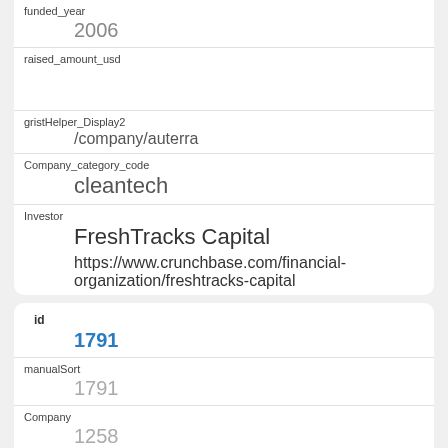| Field | Value |
| --- | --- |
| funded_year | 2006 |
| raised_amount_usd |  |
| gristHelper_Display2 | /company/auterra |
| Company_category_code | cleantech |
| Investor | FreshTracks Capital
https://www.crunchbase.com/financial-organization/freshtracks-capital |
| Field | Value |
| --- | --- |
| id | 1791 |
| manualSort | 1791 |
| Company | 1258 |
| investor_permalink | /financial-organization/freshtracks-capital |